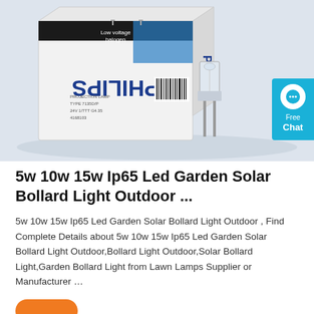[Figure (photo): Product photo showing a Philips projection lamp/halogen bulb with its white and blue packaging box. The box shows 'PHILIPS' text and 'Low voltage halogen' label. The lamp itself with metal pins is visible next to the box.]
5w 10w 15w Ip65 Led Garden Solar Bollard Light Outdoor ...
5w 10w 15w Ip65 Led Garden Solar Bollard Light Outdoor , Find Complete Details about 5w 10w 15w Ip65 Led Garden Solar Bollard Light Outdoor,Bollard Light Outdoor,Solar Bollard Light,Garden Bollard Light from Lawn Lamps Supplier or Manufacturer …